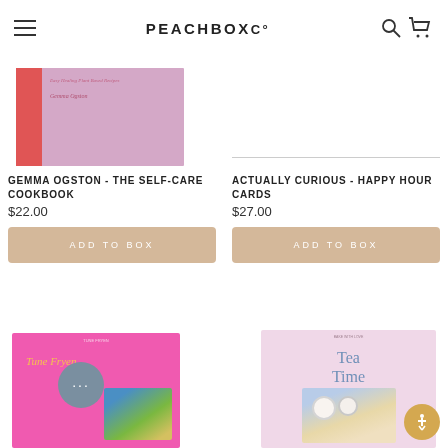PEACHBOXCO
[Figure (photo): Book cover for 'The Self-Care Cookbook' by Gemma Ogston - pink/mauve cover with red spine]
GEMMA OGSTON - THE SELF-CARE COOKBOOK
$22.00
ADD TO BOX
[Figure (photo): Product image for Actually Curious Happy Hour Cards - partial view with divider line]
ACTUALLY CURIOUS - HAPPY HOUR CARDS
$27.00
ADD TO BOX
[Figure (photo): Pink book cover with floral image inset - Tune Fryen book]
[Figure (photo): Light pink book cover - Tea Time book with photo of clocks/flowers]